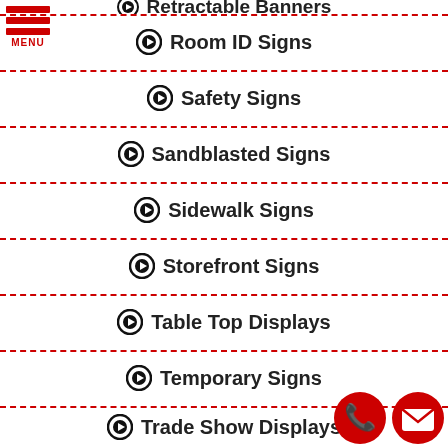[Figure (logo): Red hamburger menu icon with three red bars and MENU label]
Retractable Banners
Room ID Signs
Safety Signs
Sandblasted Signs
Sidewalk Signs
Storefront Signs
Table Top Displays
Temporary Signs
Trade Show Displays
[Figure (illustration): Red circular phone call button icon]
[Figure (illustration): Red circular email/envelope button icon]